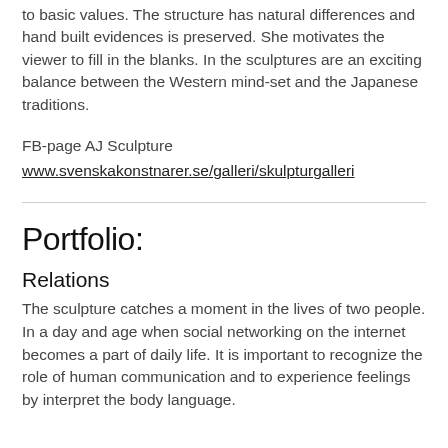to basic values. The structure has natural differences and hand built evidences is preserved. She motivates the viewer to fill in the blanks. In the sculptures are an exciting balance between the Western mind-set and the Japanese traditions.
FB-page AJ Sculpture
www.svenskakonstnarer.se/galleri/skulpturgalleri
Portfolio:
Relations
The sculpture catches a moment in the lives of two people. In a day and age when social networking on the internet becomes a part of daily life. It is important to recognize the role of human communication and to experience feelings by interpret the body language.